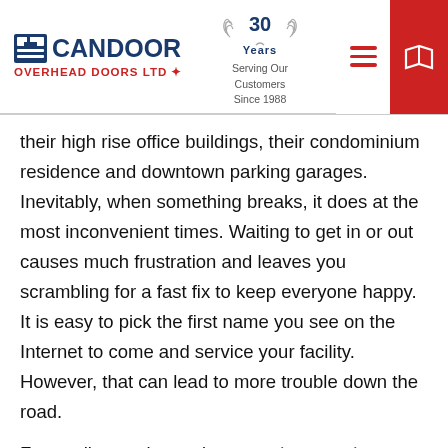CANDOOR OVERHEAD DOORS LTD — 30 Years Serving Our Customers Since 1988
their high rise office buildings, their condominium residence and downtown parking garages. Inevitably, when something breaks, it does at the most inconvenient times. Waiting to get in or out causes much frustration and leaves you scrambling for a fast fix to keep everyone happy. It is easy to pick the first name you see on the Internet to come and service your facility. However, that can lead to more trouble down the road.
For quality service and garage door repairs, contact Candoor Overhead Doors Ltd. We look for the best solutions for your facility and its needs.